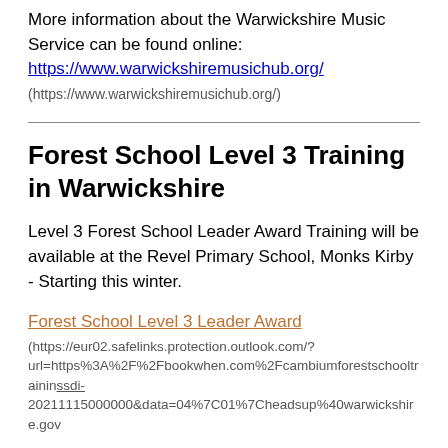More information about the Warwickshire Music Service can be found online: https://www.warwickshiremusichub.org/ (https://www.warwickshiremusichub.org/)
Forest School Level 3 Training in Warwickshire
Level 3 Forest School Leader Award Training will be available at the Revel Primary School, Monks Kirby - Starting this winter.
Forest School Level 3 Leader Award (https://eur02.safelinks.protection.outlook.com/?url=https%3A%2F%2Fbookwhen.com%2Fcambiumforestschooltraininsdi-20211115000000&data=04%7C01%7Cheadsup%40warwickshire.gov
Instead of the course running as a solid block it will be spread over 8 weeks with the participants attending